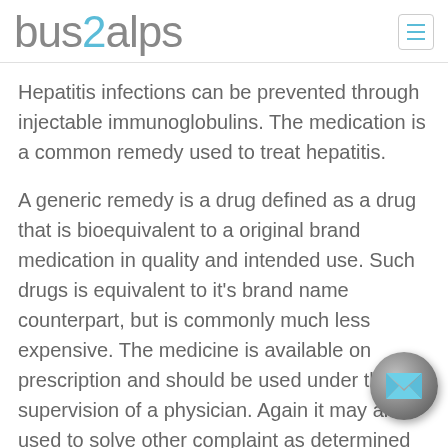bus2alps
Hepatitis infections can be prevented through injectable immunoglobulins. The medication is a common remedy used to treat hepatitis.
A generic remedy is a drug defined as a drug that is bioequivalent to a original brand medication in quality and intended use. Such drugs is equivalent to it’s brand name counterpart, but is commonly much less expensive. The medicine is available on prescription and should be used under the supervision of a physician. Again it may also used to solve other complaint as determined by your pharmacist.
[Figure (illustration): Circular email/contact button with a light blue downward-pointing envelope icon on a grey gradient background, positioned bottom-right]